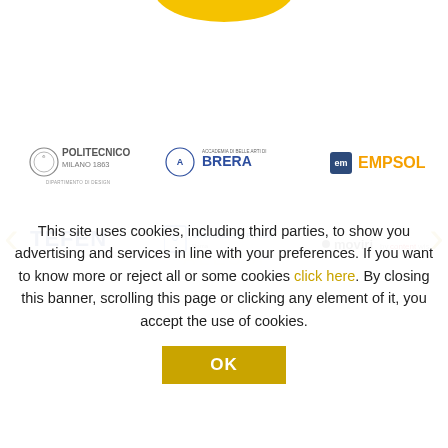[Figure (logo): Yellow arc/logo at the top, partially visible]
[Figure (logo): Politecnico Milano 1863 logo with circular emblem and Dipartimento di Design text]
[Figure (logo): Accademia di Belle Arti di Brera logo with circular emblem]
[Figure (logo): EMPSOL logo with EM in dark box and orange EMPSOL text]
[Figure (logo): TEFEN Management Consulting logo in blue]
[Figure (logo): Università San Raffaele Roma logo]
[Figure (logo): moviri by contentwise logo]
This site uses cookies, including third parties, to show you advertising and services in line with your preferences. If you want to know more or reject all or some cookies click here. By closing this banner, scrolling this page or clicking any element of it, you accept the use of cookies.
OK